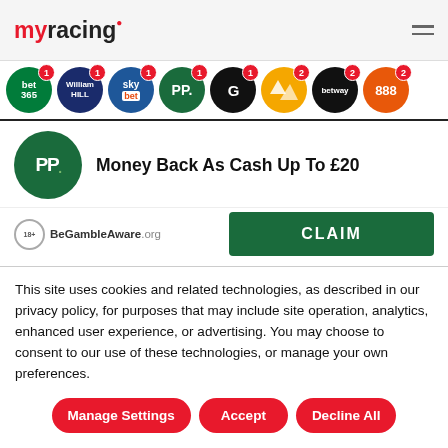myracing
[Figure (logo): Row of bookmaker logos: bet365, William Hill, Sky Bet, PP (Paddy Power), G (Grosvenor), Betfair, Betway, 888, and more, each with a notification badge]
[Figure (logo): Paddy Power PP logo circle]
Money Back As Cash Up To £20
[Figure (logo): BeGambleAware.org logo with 18+ icon]
CLAIM
This site uses cookies and related technologies, as described in our privacy policy, for purposes that may include site operation, analytics, enhanced user experience, or advertising. You may choose to consent to our use of these technologies, or manage your own preferences.
Manage Settings
Accept
Decline All